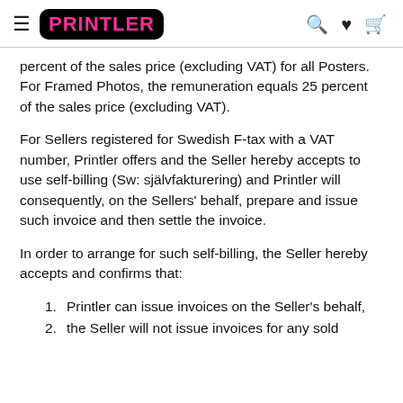PRINTLER
You are entitled to remuneration equal to 20 percent of the sales price (excluding VAT) for all Posters. For Framed Photos, the remuneration equals 25 percent of the sales price (excluding VAT).
For Sellers registered for Swedish F-tax with a VAT number, Printler offers and the Seller hereby accepts to use self-billing (Sw: självfakturering) and Printler will consequently, on the Sellers' behalf, prepare and issue such invoice and then settle the invoice.
In order to arrange for such self-billing, the Seller hereby accepts and confirms that:
Printler can issue invoices on the Seller's behalf,
the Seller will not issue invoices for any sold